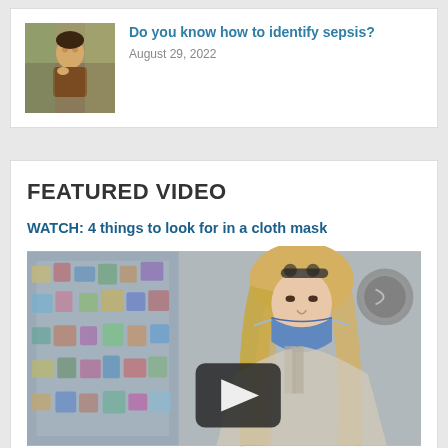[Figure (photo): Man sitting on couch looking unwell, holding his head]
Do you know how to identify sepsis?
August 29, 2022
FEATURED VIDEO
WATCH: 4 things to look for in a cloth mask
[Figure (photo): Young woman wearing a blue cloth face mask in a store aisle, with a video play button overlay]